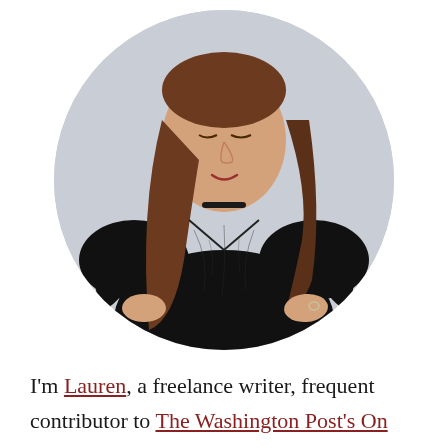[Figure (photo): Circular cropped portrait photo of a young woman with long brown hair, wearing a black sheer v-neck top with short sleeves, hands on hips, looking downward, against a light gray background.]
I'm Lauren, a freelance writer, frequent contributor to The Washington Post's On